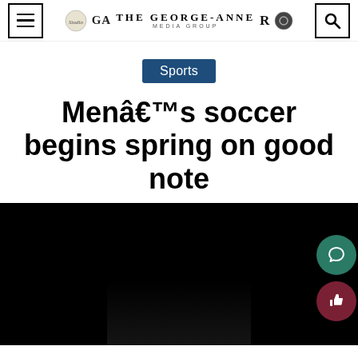THE GEORGE-ANNE MEDIA GROUP
Sports
Menâ€™s soccer begins spring on good note
[Figure (photo): Dark/black photograph of a soccer scene, partially visible at the bottom of the page]